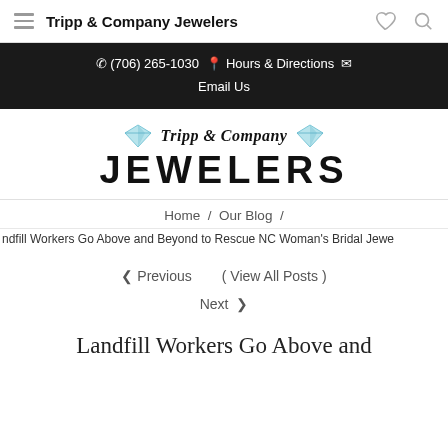Tripp & Company Jewelers
(706) 265-1030  Hours & Directions  Email Us
[Figure (logo): Tripp & Company Jewelers logo with two diamond icons flanking cursive text 'Tripp & Company' above large bold sans-serif 'JEWELERS']
Home  /  Our Blog  /
ndfill Workers Go Above and Beyond to Rescue NC Woman's Bridal Jewe
◄ Previous   ( View All Posts )
Next ›
Landfill Workers Go Above and